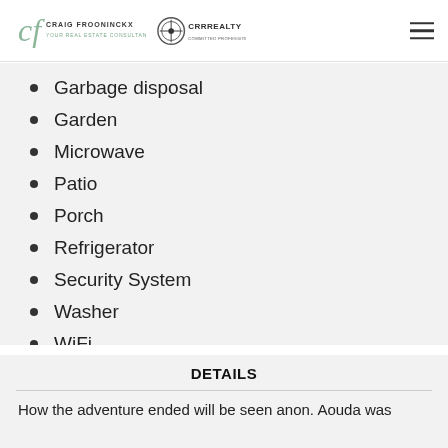Craig Frooninckx - Your Real Estate Consultant | CRR Realty
Garbage disposal
Garden
Microwave
Patio
Porch
Refrigerator
Security System
Washer
WiFi
DETAILS
How the adventure ended will be seen anon. Aouda was